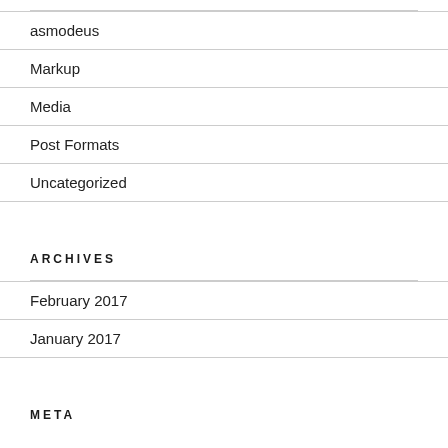asmodeus
Markup
Media
Post Formats
Uncategorized
ARCHIVES
February 2017
January 2017
META